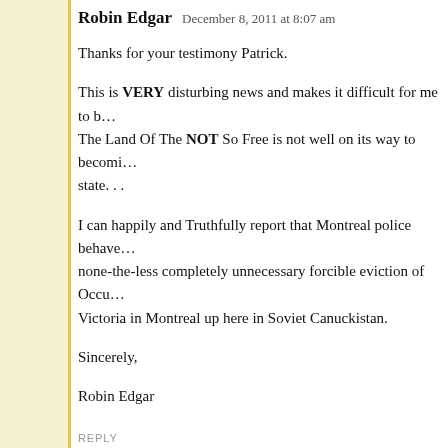Robin Edgar   December 8, 2011 at 8:07 am
Thanks for your testimony Patrick.
This is VERY disturbing news and makes it difficult for me to b... The Land Of The NOT So Free is not well on its way to becomi... state. . .
I can happily and Truthfully report that Montreal police behave... none-the-less completely unnecessary forcible eviction of Occu... Victoria in Montreal up here in Soviet Canuckistan.
Sincerely,
Robin Edgar
REPLY
Robert   December 8, 2011 at 9:02 am